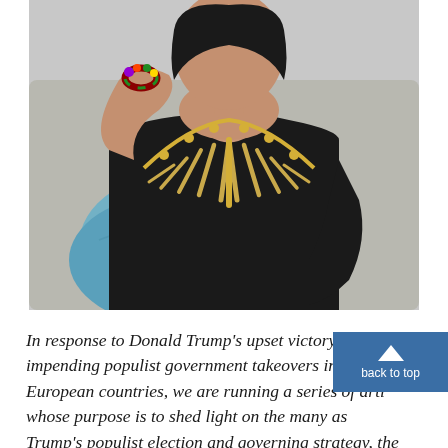[Figure (photo): A woman in a black sleeveless top wearing a large gold spike/bar statement necklace and a colorful beaded bracelet, sitting on a sofa with a blue pillow. She has her hand raised near her neck/shoulder.]
In response to Donald Trump's upset victory and impending populist government takeovers in many European countries, we are running a series of articles whose purpose is to shed light on the many aspects of Trump's populist election and governing strategy, the